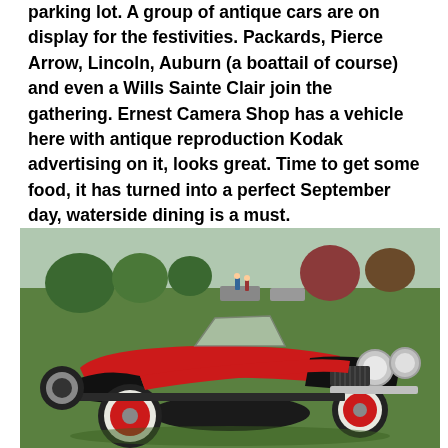parking lot. A group of antique cars are on display for the festivities. Packards, Pierce Arrow, Lincoln, Auburn (a boattail of course) and even a Wills Sainte Clair join the gathering. Ernest Camera Shop has a vehicle here with antique reproduction Kodak advertising on it, looks great. Time to get some food, it has turned into a perfect September day, waterside dining is a must.
[Figure (photo): A classic red and black antique car (likely an Auburn boattail speedster) with white wall tires and large chrome headlights, displayed on a green lawn with other antique cars and trees visible in the background.]